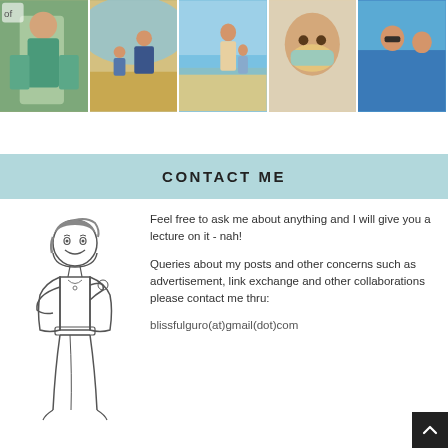[Figure (photo): A strip of 5 photos showing children and mothers at beach/outdoor scenes; partially cropped at top]
CONTACT ME
[Figure (illustration): Line drawing illustration of a woman with short hair, smiling, hand on hip, wearing a top with a necklace and wide-leg pants]
Feel free to ask me about anything and I will give you a lecture on it - nah!
Queries about my posts and other concerns such as advertisement, link exchange and other collaborations please contact me thru:
blissfulguro(at)gmail(dot)com